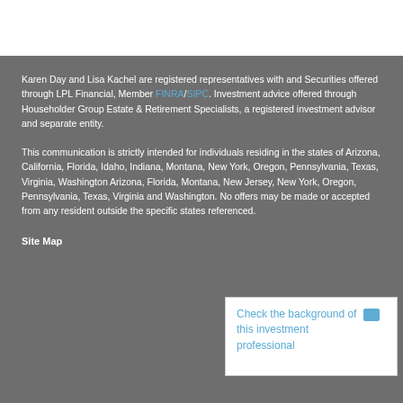Karen Day and Lisa Kachel are registered representatives with and Securities offered through LPL Financial, Member FINRA/SIPC. Investment advice offered through Householder Group Estate & Retirement Specialists, a registered investment advisor and separate entity.
This communication is strictly intended for individuals residing in the states of Arizona, California, Florida, Idaho, Indiana, Montana, New York, Oregon, Pennsylvania, Texas, Virginia, Washington Arizona, Florida, Montana, New Jersey, New York, Oregon, Pennsylvania, Texas, Virginia and Washington. No offers may be made or accepted from any resident outside the specific states referenced.
Check the background of this investment professional
Site Map